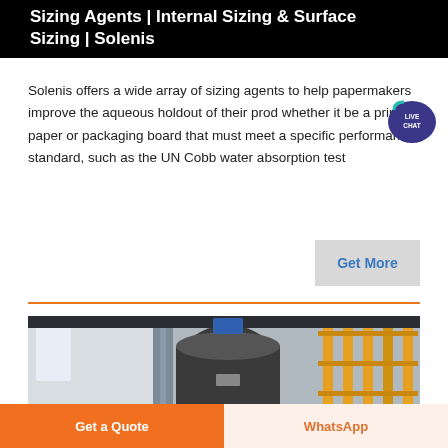Sizing Agents | Internal Sizing & Surface Sizing | Solenis
Solenis offers a wide array of sizing agents to help papermakers improve the aqueous holdout of their products, whether it be a printing paper or packaging board that must meet a specific performance standard, such as the UN Cobb water absorption test
[Figure (other): Live Chat speech bubble icon with text LIVE CHAT in teal/navy color]
[Figure (other): Gray button with blue text reading Get More]
[Figure (photo): Industrial papermaking or chemical processing facility interior showing large metal tanks, ventilation ducts, and yellow metal staircase/scaffolding structure]
Get a Quote | WhatsApp